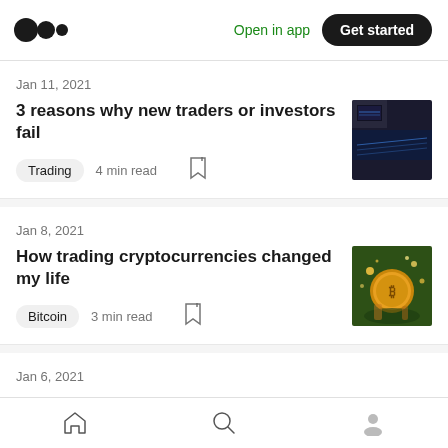Medium logo | Open in app | Get started
Jan 11, 2021
3 reasons why new traders or investors fail
Trading  4 min read
Jan 8, 2021
How trading cryptocurrencies changed my life
Bitcoin  3 min read
Jan 6, 2021
Home | Search | Profile